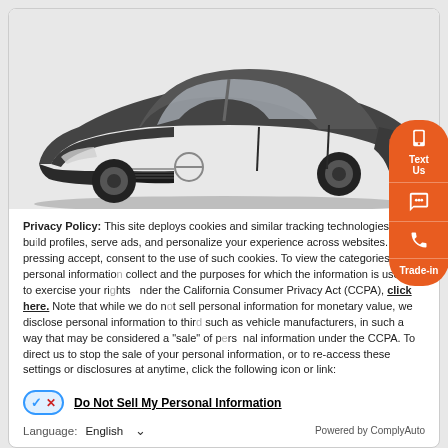[Figure (photo): Dark grey Nissan sedan car photograph shown from front-left angle against light grey background]
Privacy Policy: This site deploys cookies and similar tracking technologies to build profiles, serve ads, and personalize your experience across websites. By pressing accept, you consent to the use of such cookies. To view the categories of personal information we collect and the purposes for which the information is used, or to exercise your rights under the California Consumer Privacy Act (CCPA), click here. Note that while we do not sell personal information for monetary value, we disclose personal information to third parties, such as vehicle manufacturers, in such a way that may be considered a "sale" of personal information under the CCPA. To direct us to stop the sale of your personal information, or to re-access these settings or disclosures at anytime, click the following icon or link:
Do Not Sell My Personal Information
Language: English    Powered by ComplyAuto
Accept and Continue →
California Privacy Disclosures